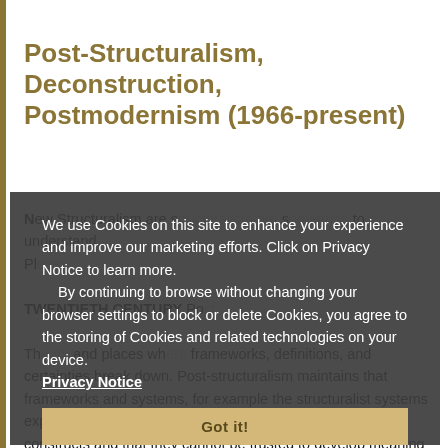Post-Structuralism, Deconstruction, Postmodernism (1966-present)
New Structuralism are structuralism are something to understand. Please... TWENTIETH CENTURY Post-structuralism places where frameworks, definitions, and certainties break down. Post-structuralism maintains that frameworks and systems, for example the structuralist systems explained in the structuralist area, are merely fictitious constructs and that they cannot be trusted to develop meaning or to give order. In fact, the very act of seeking
We use Cookies on this site to enhance your experience and improve our marketing efforts. Click on Privacy Notice to learn more. By continuing to browse without changing your browser settings to block or delete Cookies, you agree to the storing of Cookies and related technologies on your device.
Privacy Notice
Got it!